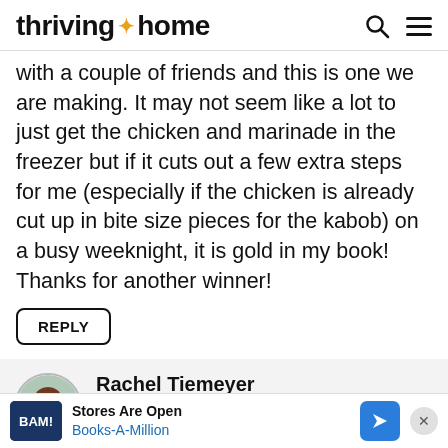thriving home
with a couple of friends and this is one we are making. It may not seem like a lot to just get the chicken and marinade in the freezer but if it cuts out a few extra steps for me (especially if the chicken is already cut up in bite size pieces for the kabob) on a busy weeknight, it is gold in my book! Thanks for another winner!
REPLY
Rachel Tiemeyer
posted on 10/20/21 at 10:43 am
I totally agree about it cutting...